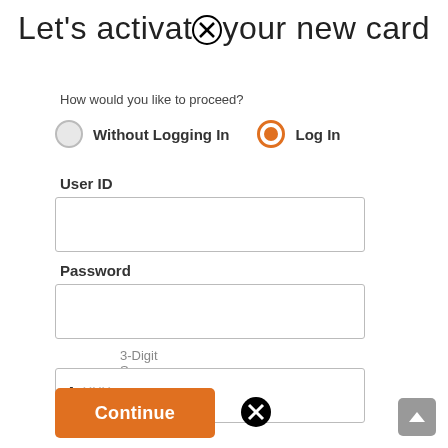Let's activate your new card
How would you like to proceed?
Without Logging In
Log In
User ID
Password
3-Digit Sequence ID
Continue